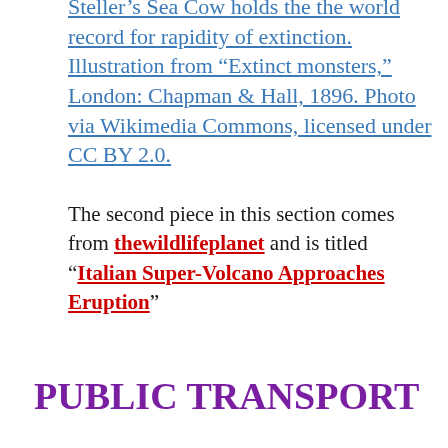Steller's Sea Cow holds the the world record for rapidity of extinction. Illustration from "Extinct monsters," London: Chapman & Hall, 1896. Photo via Wikimedia Commons, licensed under CC BY 2.0.
The second piece in this section comes from thewildlifeplanet and is titled “Italian Super-Volcano Approaches Eruption”
PUBLIC TRANSPORT
I have five links to share in this section:
vlogexpedition have a piece about the